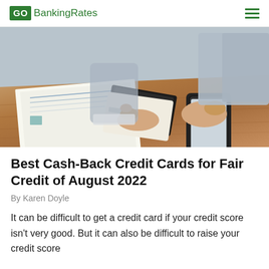GOBankingRates
[Figure (photo): Person in business attire holding a credit card and a smartphone over a wooden desk with financial documents and papers]
Best Cash-Back Credit Cards for Fair Credit of August 2022
By Karen Doyle
It can be difficult to get a credit card if your credit score isn't very good. But it can also be difficult to raise your credit score